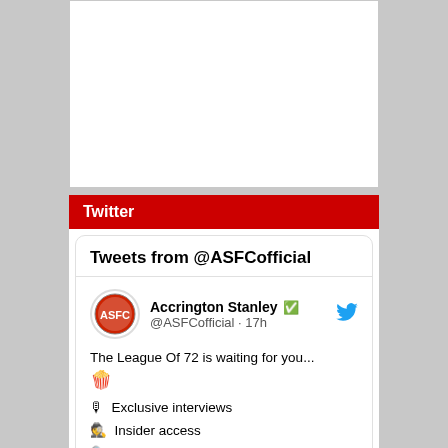[Figure (other): White empty box at top of page]
Twitter
Tweets from @ASFCofficial
Accrington Stanley @ASFCofficial · 17h
The League Of 72 is waiting for you... 🍿
🎙 Exclusive interviews
🕵 Insider access
🔍 Tactical analysis
...and much, much more!